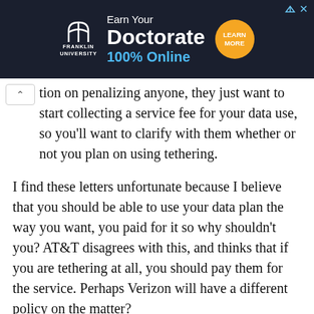[Figure (screenshot): Franklin University advertisement banner: 'Earn Your Doctorate 100% Online' with Learn More button on dark navy background]
tion on penalizing anyone, they just want to start collecting a service fee for your data use, so you'll want to clarify with them whether or not you plan on using tethering.
I find these letters unfortunate because I believe that you should be able to use your data plan the way you want, you paid for it so why shouldn't you? AT&T disagrees with this, and thinks that if you are tethering at all, you should pay them for the service. Perhaps Verizon will have a different policy on the matter?
On a positive note, you could also look at this like AT&T might be allowing MyWi usage as long as you pay for the